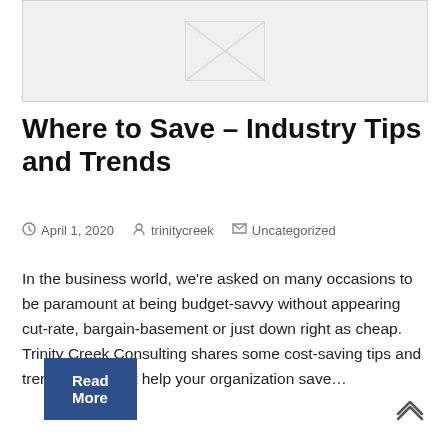[Figure (illustration): Placeholder image with light gray background and diagonal lines indicating an image placeholder]
Where to Save – Industry Tips and Trends
April 1, 2020   trinitycreek   Uncategorized
In the business world, we're asked on many occasions to be paramount at being budget-savvy without appearing cut-rate, bargain-basement or just down right as cheap. Trinity Creek Consulting shares some cost-saving tips and trends that might help your organization save…
Read More